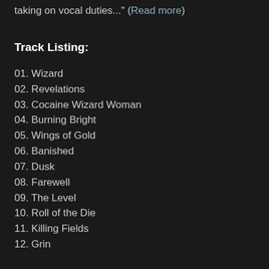taking on vocal duties..." (Read more)
Track Listing:
01. Wizard
02. Revelations
03. Cocaine Wizard Woman
04. Burning Bright
05. Wings of Gold
06. Banished
07. Dusk
08. Farewell
09. The Level
10. Roll of the Die
11. Killing Fields
12. Grin